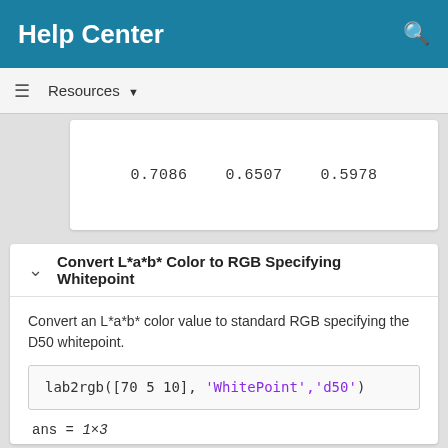Help Center
Resources ▼
Convert L*a*b* Color to RGB Specifying Whitepoint
Convert an L*a*b* color value to standard RGB specifying the D50 whitepoint.
ans = 1×3